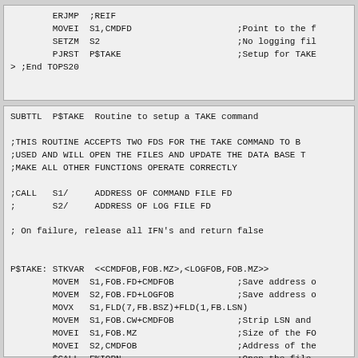ERJON  ;REIF
        MOVEI  S1,CMDFD                    ;Point to the f
        SETZM  S2                           ;No logging fil
        PJRST  P$TAKE                       ;Setup for TAKE
> ;End TOPS20
SUBTTL  P$TAKE  Routine to setup a TAKE command

;THIS ROUTINE ACCEPTS TWO FDS FOR THE TAKE COMMAND TO B
;USED AND WILL OPEN THE FILES AND UPDATE THE DATA BASE T
;MAKE ALL OTHER FUNCTIONS OPERATE CORRECTLY

;CALL   S1/     ADDRESS OF COMMAND FILE FD
;       S2/     ADDRESS OF LOG FILE FD

; On failure, release all IFN's and return false


P$TAKE: STKVAR  <<CMDFOB,FOB.MZ>,<LOGFOB,FOB.MZ>>
        MOVEM  S1,FOB.FD+CMDFOB            ;Save address o
        MOVEM  S2,FOB.FD+LOGFOB            ;Save address o
        MOVX   S1,FLD(7,FB.BSZ)+FLD(1,FB.LSN)
        MOVEM  S1,FOB.CW+CMDFOB            ;Strip LSN and
        MOVEI  S1,FOB.MZ                   ;Size of the FO
        MOVEI  S2,CMDFOB                   ;Address of the
        $CALL  F%IOPN                      ;Open the file
         $RETIF                            ;Return the err
        MOVEM  S1,CMDIFN                   ;Save the IFN
        SETOM  TAKELG                      ;Remember we ar